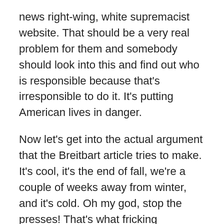news right-wing, white supremacist website. That should be a very real problem for them and somebody should look into this and find out who is responsible because that's irresponsible to do it. It's putting American lives in danger.
Now let's get into the actual argument that the Breitbart article tries to make. It's cool, it's the end of fall, we're a couple of weeks away from winter, and it's cold. Oh my god, stop the presses! That's what fricking happens. You idiots. Yeah, it get's cold in the winter. It gets hot in the summer. It's middle temperatures typically in the spring and fall. That's called weather not climate. That's the problem that republicans have. They cannot disassociate climate from weather! If it's sunny or cloudy or raining or